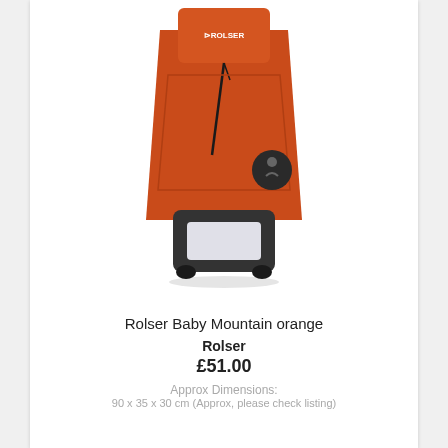[Figure (photo): Rolser Baby Mountain orange shopping trolley with orange fabric bag on a black wheeled frame, front view]
Rolser Baby Mountain orange
Rolser
£51.00
Approx Dimensions: